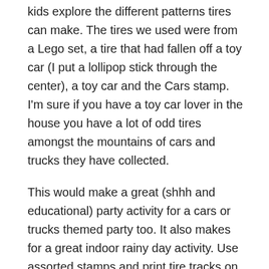kids explore the different patterns tires can make. The tires we used were from a Lego set, a tire that had fallen off a toy car (I put a lollipop stick through the center), a toy car and the Cars stamp.  I'm sure if you have a toy car lover in the house you have a lot of odd tires amongst the mountains of cars and trucks they have collected.
This would make a great (shhh and educational) party activity for a cars or trucks themed party too. It also makes for a great indoor rainy day activity. Use assorted stamps and print tire tracks on paper. The child who matches them all / the most tire tracks together with the stamps wins and receives a small prize.
More fun car activities for kids
Are you looking for more fun car and 'things that go'